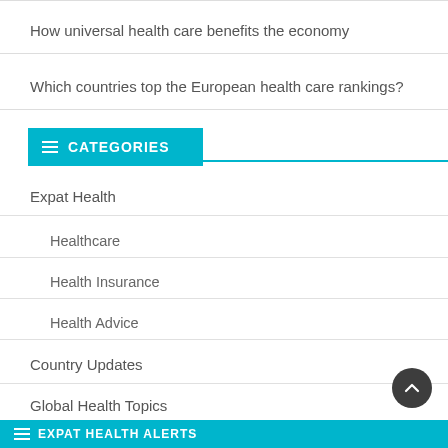How universal health care benefits the economy
Which countries top the European health care rankings?
CATEGORIES
Expat Health
Healthcare
Health Insurance
Health Advice
Country Updates
Global Health Topics
EXPAT HEALTH ALERTS